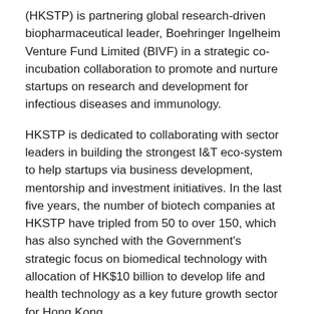(HKSTP) is partnering global research-driven biopharmaceutical leader, Boehringer Ingelheim Venture Fund Limited (BIVF) in a strategic co-incubation collaboration to promote and nurture startups on research and development for infectious diseases and immunology.
HKSTP is dedicated to collaborating with sector leaders in building the strongest I&T eco-system to help startups via business development, mentorship and investment initiatives. In the last five years, the number of biotech companies at HKSTP have tripled from 50 to over 150, which has also synched with the Government's strategic focus on biomedical technology with allocation of HK$10 billion to develop life and health technology as a key future growth sector for Hong Kong.
This partnership between HKSTP and BIVF marks a key milestone to drive the Hong Kong's biomedical technology development. Both local and global qualified startups in infectious diseases and immunology can apply to the incubation programme to access the full capabilities of the